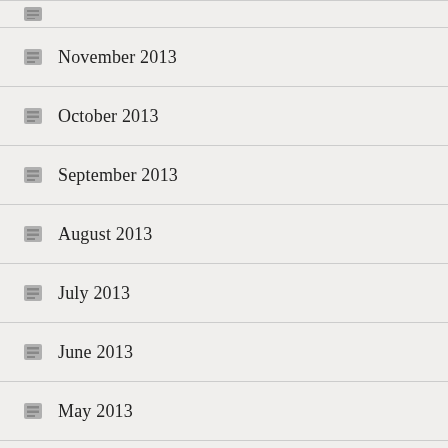November 2013
October 2013
September 2013
August 2013
July 2013
June 2013
May 2013
April 2013
March 2013